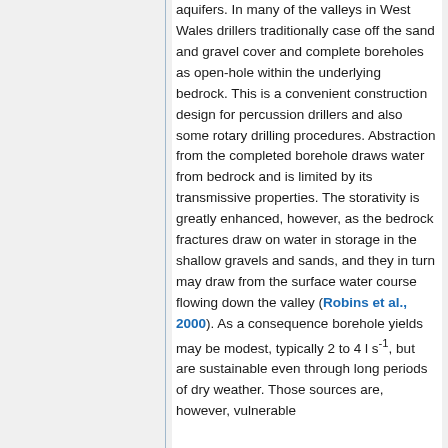aquifers. In many of the valleys in West Wales drillers traditionally case off the sand and gravel cover and complete boreholes as open-hole within the underlying bedrock. This is a convenient construction design for percussion drillers and also some rotary drilling procedures. Abstraction from the completed borehole draws water from bedrock and is limited by its transmissive properties. The storativity is greatly enhanced, however, as the bedrock fractures draw on water in storage in the shallow gravels and sands, and they in turn may draw from the surface water course flowing down the valley (Robins et al., 2000). As a consequence borehole yields may be modest, typically 2 to 4 l s-1, but are sustainable even through long periods of dry weather. Those sources are, however, vulnerable